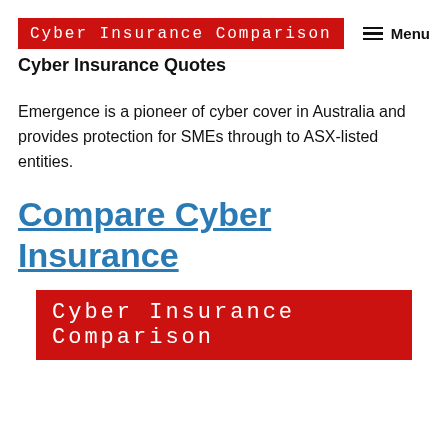Cyber Insurance Comparison
Cyber Insurance Quotes
Emergence is a pioneer of cyber cover in Australia and provides protection for SMEs through to ASX-listed entities.
Compare Cyber Insurance
[Figure (logo): Cyber Insurance Comparison logo — white monospace text on red background]